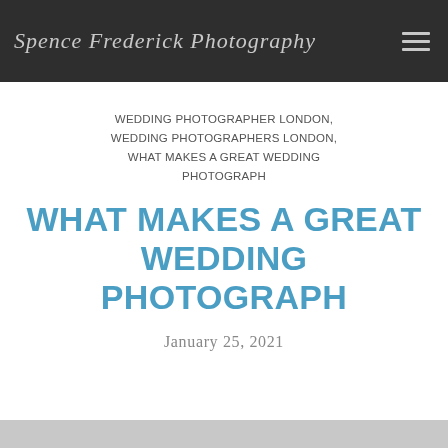Spence Frederick Photography
WEDDING PHOTOGRAPHER LONDON, WEDDING PHOTOGRAPHERS LONDON, WHAT MAKES A GREAT WEDDING PHOTOGRAPH
WHAT MAKES A GREAT WEDDING PHOTOGRAPH
January 25, 2021